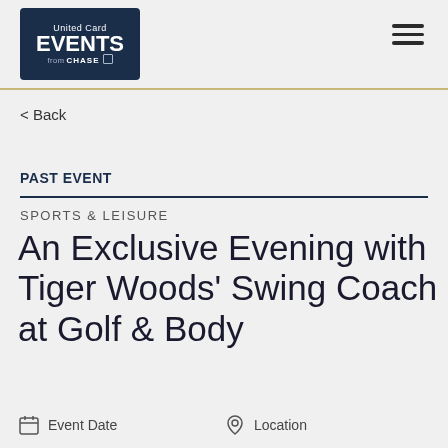United Card Events from Chase
< Back
PAST EVENT
SPORTS & LEISURE
An Exclusive Evening with Tiger Woods' Swing Coach at Golf & Body
Event Date   Location